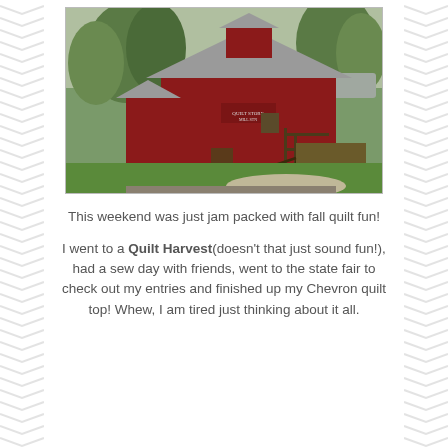[Figure (photo): Red barn building surrounded by trees with a wooden wagon/cart in the foreground on a grass lawn]
This weekend was just jam packed with fall quilt fun!
I went to a Quilt Harvest(doesn't that just sound fun!), had a sew day with friends, went to the state fair to check out my entries and finished up my Chevron quilt top! Whew, I am tired just thinking about it all.